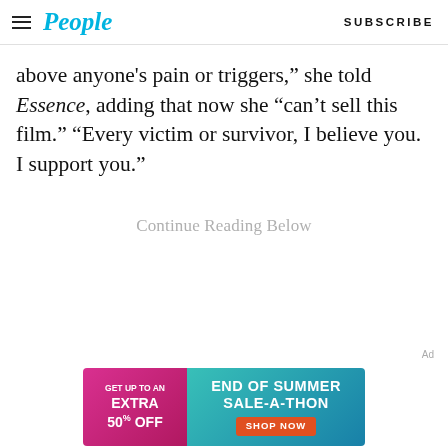People | SUBSCRIBE
above anyone's pain or triggers,” she told Essence, adding that now she “can’t sell this film.” “Every victim or survivor, I believe you. I support you.”
Continue Reading Below
[Figure (other): Advertisement banner: GET UP TO AN EXTRA 50% OFF | END OF SUMMER SALE-A-THON | SHOP NOW button]
Ad